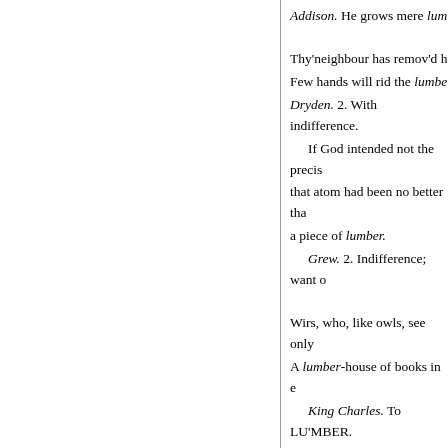Addison. He grows mere lumber.
Thy'neighbour has remov'd h
Few hands will rid the lumber.
Dryden. 2. With indifference.
If God intended not the precis that atom had been no better tha a piece of lumber.
Grew. 2. Indifference; want o
Wirs, who, like owls, see only
A lumber-house of books in e
King Charles. To LU'MBER. in religion; the excess is inordin heap like useless goods irregula
Spratt.
In Rollo we must have so mu that not the least beauty of trage